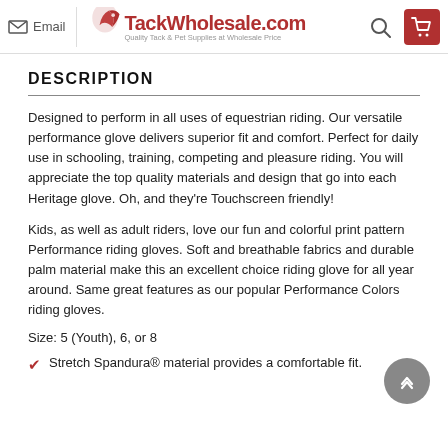Email | TackWholesale.com — Quality Tack & Pet Supplies at Wholesale Price
DESCRIPTION
Designed to perform in all uses of equestrian riding. Our versatile performance glove delivers superior fit and comfort. Perfect for daily use in schooling, training, competing and pleasure riding. You will appreciate the top quality materials and design that go into each Heritage glove. Oh, and they're Touchscreen friendly!
Kids, as well as adult riders, love our fun and colorful print pattern Performance riding gloves. Soft and breathable fabrics and durable palm material make this an excellent choice riding glove for all year around. Same great features as our popular Performance Colors riding gloves.
Size: 5 (Youth), 6, or 8
Stretch Spandura® material provides a comfortable fit.